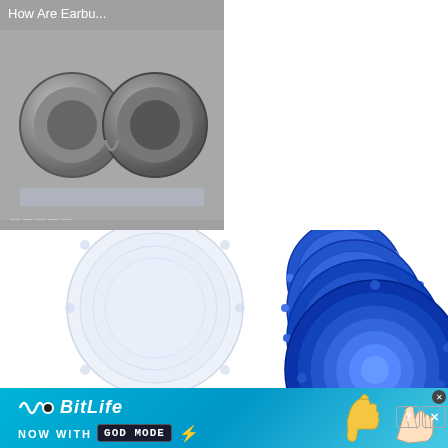[Figure (screenshot): Video thumbnail showing earbuds with a play button, titled 'How Are Earbu...']
[Figure (screenshot): Dark ad panel with text 'How Are Earbuds Affecting Your Hearing?' and a close button]
[Figure (photo): Product photo of silicone stretch lids - white translucent lids on left, blue lids in graduated sizes on right]
[Figure (screenshot): BitLife game advertisement banner: 'NOW WITH GOD MODE' with lightning bolt, hand graphic, close and question mark buttons]